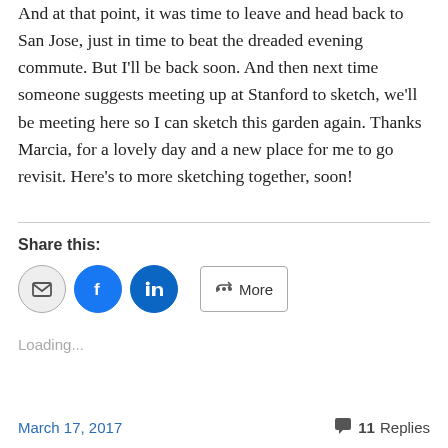And at that point, it was time to leave and head back to San Jose, just in time to beat the dreaded evening commute. But I'll be back soon. And then next time someone suggests meeting up at Stanford to sketch, we'll be meeting here so I can sketch this garden again. Thanks Marcia, for a lovely day and a new place for me to go revisit. Here's to more sketching together, soon!
Share this:
[Figure (other): Social share buttons: email (grey circle), Facebook (blue circle), LinkedIn (blue circle), and a More button with share icon]
Loading...
March 17, 2017   11 Replies